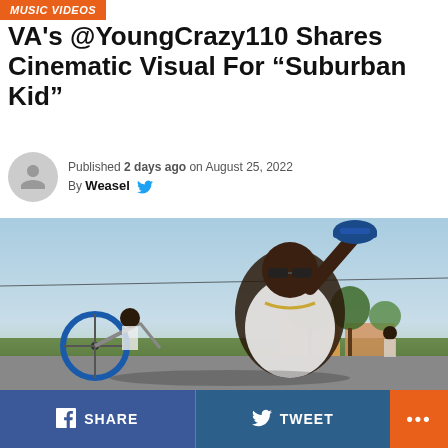MUSIC VIDEOS
VA's @YoungCrazy110 Shares Cinematic Visual For “Suburban Kid”
Published 2 days ago on August 25, 2022
By Weasel
[Figure (photo): A young man in sunglasses and a white tank top holding a blue cap above his head, with a BMX bike in the foreground, photographed outdoors near a suburban area with trees and buildings in background.]
SHARE   TWEET   ...